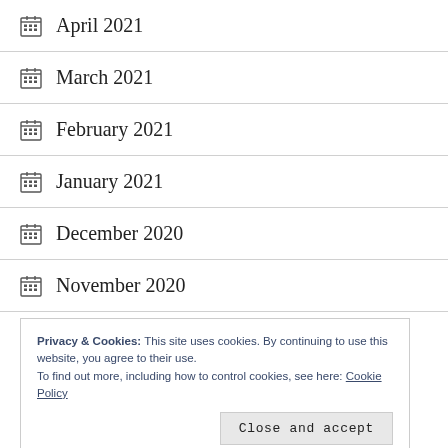April 2021
March 2021
February 2021
January 2021
December 2020
November 2020
October 2020
Privacy & Cookies: This site uses cookies. By continuing to use this website, you agree to their use.
To find out more, including how to control cookies, see here: Cookie Policy
July 2020